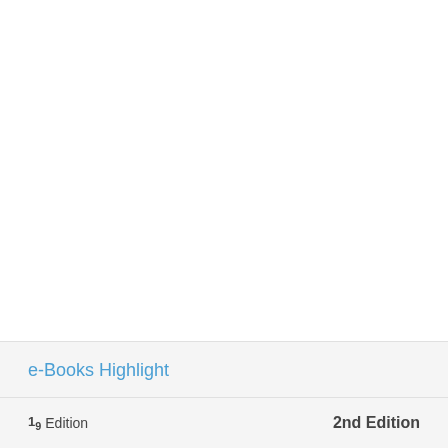e-Books Highlight
1st Edition   2nd Edition